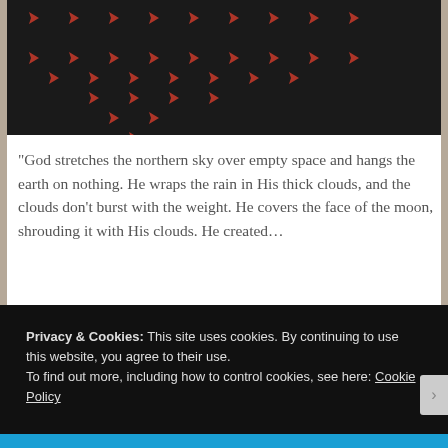[Figure (photo): Dark background photo showing rows of red/orange arrow shapes arranged in a triangular/decreasing pattern pointing right]
“God stretches the northern sky over empty space and hangs the earth on nothing. He wraps the rain in His thick clouds, and the clouds don’t burst with the weight. He covers the face of the moon, shrouding it with His clouds. He created…
Continue Reading
Privacy & Cookies: This site uses cookies. By continuing to use this website, you agree to their use.
To find out more, including how to control cookies, see here: Cookie Policy
Close and accept